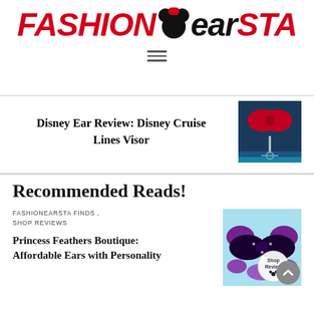[Figure (logo): FashionEarSta logo with Minnie Mouse ears icon, FASHION and STA in red italic, EAR in black italic]
[Figure (other): Hamburger menu icon with three horizontal lines]
Disney Ear Review: Disney Cruise Lines Visor
[Figure (photo): Thumbnail image of Disney Cruise Lines Visor ear with red sequins and anchor/nautical design]
Recommended Reads!
FASHIONEARSTA FINDS , SHOP REVIEWS
Princess Feathers Boutique: Affordable Ears with Personality
[Figure (photo): Thumbnail image of purple and black sequin Minnie ears with Shop Review badge overlay and scroll-to-top button]